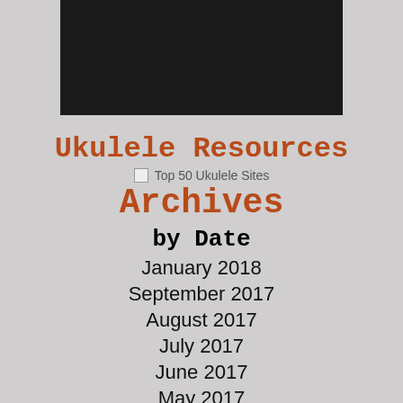[Figure (photo): Dark black banner/image at top of page]
Ukulele Resources
[Figure (other): Broken image placeholder: Top 50 Ukulele Sites badge]
Archives
by Date
January 2018
September 2017
August 2017
July 2017
June 2017
May 2017
April 2017
March 2017
February 2017
January 2017